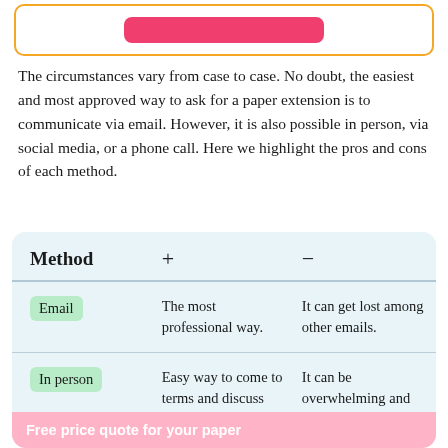[Figure (other): Top banner with orange border and pink/red button]
The circumstances vary from case to case. No doubt, the easiest and most approved way to ask for a paper extension is to communicate via email. However, it is also possible in person, via social media, or a phone call. Here we highlight the pros and cons of each method.
| Method | + | − |
| --- | --- | --- |
| Email | The most professional way. | It can get lost among other emails. |
| In person | Easy way to come to terms and discuss everything at once. | It can be overwhelming and stressful. |
Free price quote for your paper